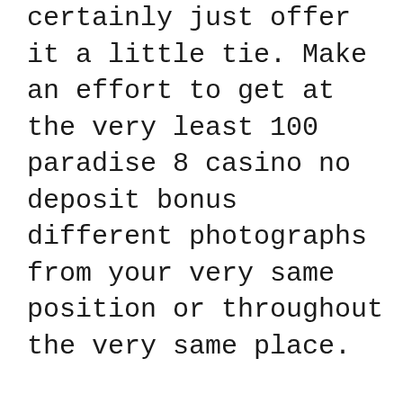certainly just offer it a little tie. Make an effort to get at the very least 100 paradise 8 casino no deposit bonus different photographs from your very same position or throughout the very same place.